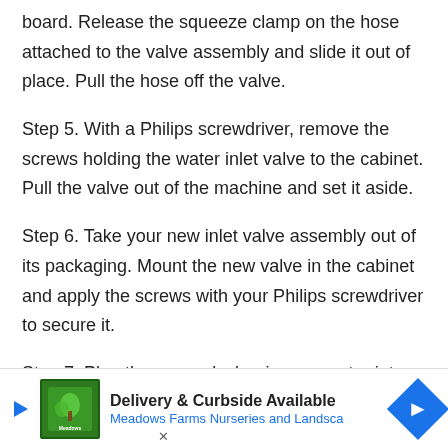board. Release the squeeze clamp on the hose attached to the valve assembly and slide it out of place. Pull the hose off the valve.
Step 5. With a Philips screwdriver, remove the screws holding the water inlet valve to the cabinet. Pull the valve out of the machine and set it aside.
Step 6. Take your new inlet valve assembly out of its packaging. Mount the new valve in the cabinet and apply the screws with your Philips screwdriver to secure it.
Step 7. Plug the new valve's wire connector into the control board. Attach the tube to the port on the new valve and secure it with the retaining clamp.
Step 8. Lift the control panel and snap it back into place.
Reconnect the two water supply lines to the ports at the back of
[Figure (infographic): Advertisement banner: 'Delivery & Curbside Available — Meadows Farms Nurseries and Landscape' with logo and blue direction arrow icon]